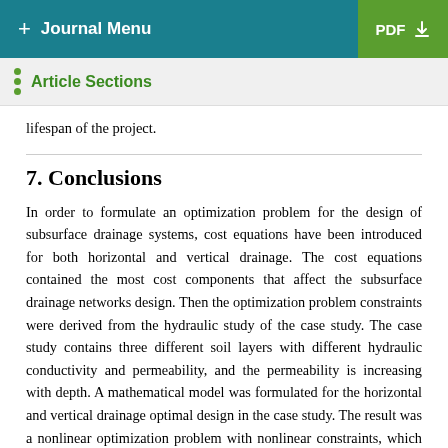+ Journal Menu | PDF
Article Sections
lifespan of the project.
7. Conclusions
In order to formulate an optimization problem for the design of subsurface drainage systems, cost equations have been introduced for both horizontal and vertical drainage. The cost equations contained the most cost components that affect the subsurface drainage networks design. Then the optimization problem constraints were derived from the hydraulic study of the case study. The case study contains three different soil layers with different hydraulic conductivity and permeability, and the permeability is increasing with depth. A mathematical model was formulated for the horizontal and vertical drainage optimal design in the case study. The result was a nonlinear optimization problem with nonlinear constraints, which required numerical methods for its solution. A survey of modern optimization